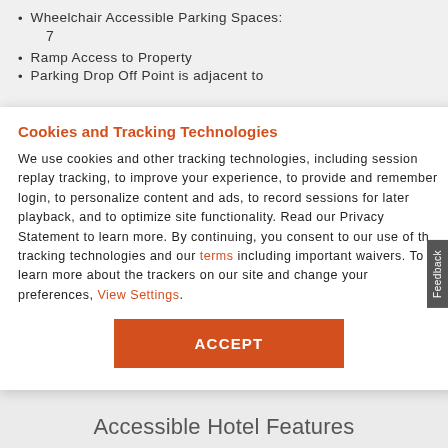Wheelchair Accessible Parking Spaces:
7
Ramp Access to Property
Parking Drop Off Point is adjacent to
Cookies and Tracking Technologies
We use cookies and other tracking technologies, including session replay tracking, to improve your experience, to provide and remember login, to personalize content and ads, to record sessions for later playback, and to optimize site functionality. Read our Privacy Statement to learn more. By continuing, you consent to our use of the tracking technologies and our terms including important waivers. To learn more about the trackers on our site and change your preferences, View Settings.
ACCEPT
Accessible Hotel Features